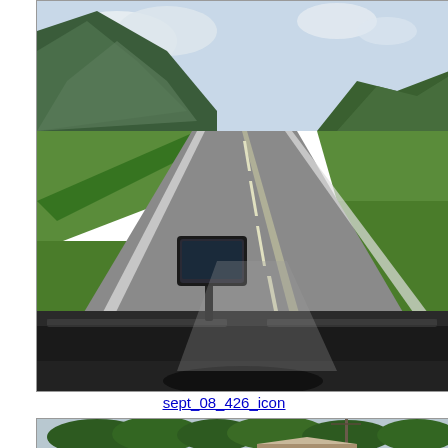[Figure (photo): Dashboard view from inside a car traveling on a straight two-lane road through a mountain valley. A GPS device on a mount sits on the dashboard. Green fields and mountains with clouds are visible in the background.]
sept_08_426_icon
[Figure (photo): Partial view of a scene with trees and hills in the background, a utility pole with wires, and the top of a building visible at the bottom.]